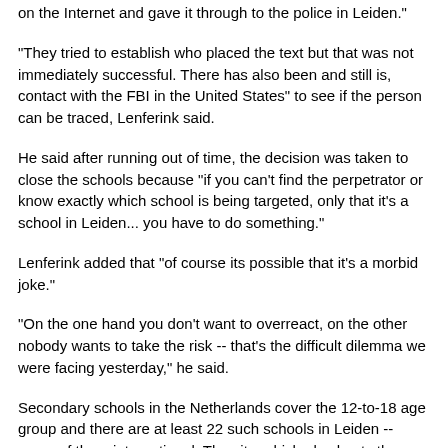on the Internet and gave it through to the police in Leiden."
"They tried to establish who placed the text but that was not immediately successful. There has also been and still is, contact with the FBI in the United States" to see if the person can be traced, Lenferink said.
He said after running out of time, the decision was taken to close the schools because "if you can't find the perpetrator or know exactly which school is being targeted, only that it's a school in Leiden... you have to do something."
Lenferink added that "of course its possible that it's a morbid joke."
"On the one hand you don't want to overreact, on the other nobody wants to take the risk -- that's the difficult dilemma we were facing yesterday," he said.
Secondary schools in the Netherlands cover the 12-to-18 age group and there are at least 22 such schools in Leiden -- some of them international. The city, which also hosts the country's